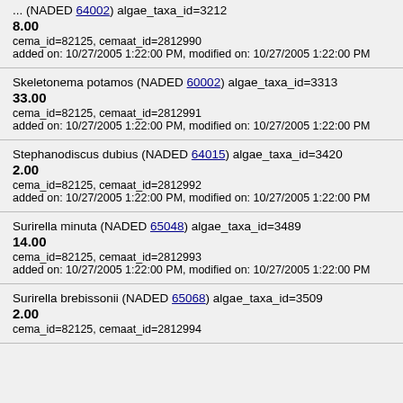... (NADED 64002) algae_taxa_id=3212
8.00
cema_id=82125, cemaat_id=2812990
added on: 10/27/2005 1:22:00 PM, modified on: 10/27/2005 1:22:00 PM
Skeletonema potamos (NADED 60002) algae_taxa_id=3313
33.00
cema_id=82125, cemaat_id=2812991
added on: 10/27/2005 1:22:00 PM, modified on: 10/27/2005 1:22:00 PM
Stephanodiscus dubius (NADED 64015) algae_taxa_id=3420
2.00
cema_id=82125, cemaat_id=2812992
added on: 10/27/2005 1:22:00 PM, modified on: 10/27/2005 1:22:00 PM
Surirella minuta (NADED 65048) algae_taxa_id=3489
14.00
cema_id=82125, cemaat_id=2812993
added on: 10/27/2005 1:22:00 PM, modified on: 10/27/2005 1:22:00 PM
Surirella brebissonii (NADED 65068) algae_taxa_id=3509
2.00
cema_id=82125, cemaat_id=2812994